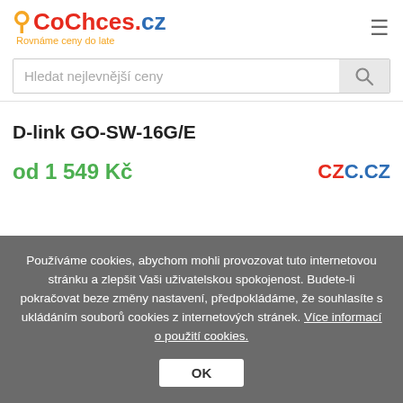[Figure (logo): CoChces.cz logo with orange magnifying glass icon and tagline 'Rovnáme ceny do late']
Hledat nejlevnější ceny
D-link GO-SW-16G/E
od 1 549 Kč
[Figure (logo): CZC.CZ shop logo in red and blue]
Používáme cookies, abychom mohli provozovat tuto internetovou stránku a zlepšit Vaši uživatelskou spokojenost. Budete-li pokračovat beze změny nastavení, předpokládáme, že souhlasíte s ukládáním souborů cookies z internetových stránek. Více informací o použití cookies.